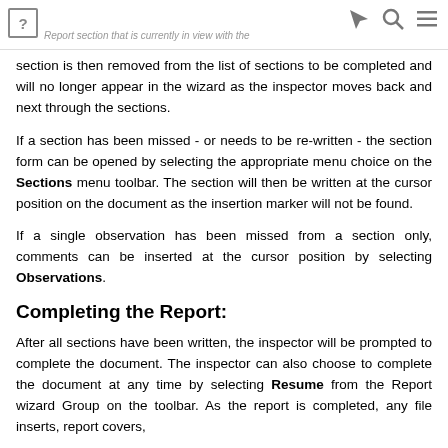? [navigation icons] Report section that is currently in view with the
section is then removed from the list of sections to be completed and will no longer appear in the wizard as the inspector moves back and next through the sections.
If a section has been missed - or needs to be re-written - the section form can be opened by selecting the appropriate menu choice on the Sections menu toolbar. The section will then be written at the cursor position on the document as the insertion marker will not be found.
If a single observation has been missed from a section only, comments can be inserted at the cursor position by selecting Observations.
Completing the Report:
After all sections have been written, the inspector will be prompted to complete the document. The inspector can also choose to complete the document at any time by selecting Resume from the Report wizard Group on the toolbar. As the report is completed, any file inserts, report covers,